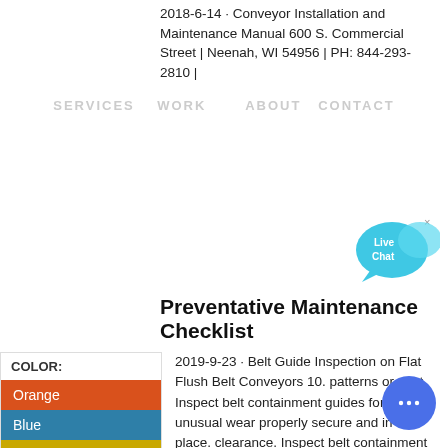2018-6-14 · Conveyor Installation and Maintenance Manual 600 S. Commercial Street | Neenah, WI 54956 | PH: 844-293-2810 |
[Figure (screenshot): Navigation bar overlay with links: SERVICES WORK ABOUT CONTACT]
[Figure (illustration): Live Chat speech bubble icon in teal/cyan color with x close button]
Preventative Maintenance Checklist
[Figure (infographic): Color panel with label COLOR: and three color swatches: Orange (orange-red), Blue (teal-blue), Yellow (gold-yellow)]
2019-9-23 · Belt Guide Inspection on Flat Flush Belt Conveyors 10. patterns or dust. Inspect belt containment guides for unusual wear properly secure and in place. clearance. Inspect belt containment guides for proper Snag Point Inspection 11. throughout the entire Look for any
[Figure (illustration): Blue circular chat button with ellipsis (three dots) icon at bottom right]